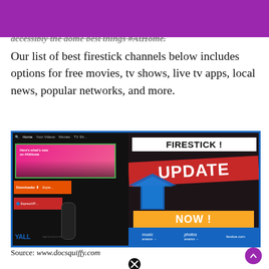accessibly the dome best things #AtHome. Our list of best firestick channels below includes options for free movies, tv shows, live tv apps, local news, popular networks, and more.
[Figure (screenshot): Firestick update promotional image showing Amazon Fire TV interface on left with home screen, downloader, ExpressVPN apps, and on the right a bold overlay reading FIRESTICK! UPDATE NOW! with a blue arrow, on a dark background.]
Source: www.docsquiffy.com